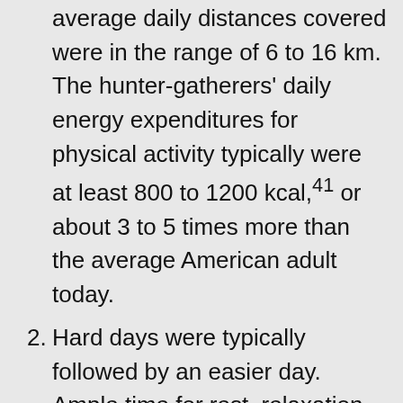average daily distances covered were in the range of 6 to 16 km. The hunter-gatherers' daily energy expenditures for physical activity typically were at least 800 to 1200 kcal,41 or about 3 to 5 times more than the average American adult today.
2. Hard days were typically followed by an easier day. Ample time for rest, relaxation, and sleep was generally available to ensure complete recovery after strenuous exertion.
3. Walking and running were done on